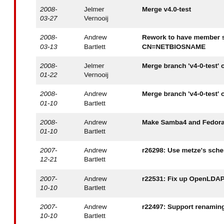| Date | Author | Message |
| --- | --- | --- |
| 2008-03-27 | Jelmer Vernooij | Merge v4.0-test |
| 2008-03-13 | Andrew Bartlett | Rework to have member server 'c... CN=NETBIOSNAME |
| 2008-01-22 | Jelmer Vernooij | Merge branch 'v4-0-test' of ssh://... |
| 2008-01-10 | Andrew Bartlett | Merge branch 'v4-0-test' of git://g... |
| 2008-01-10 | Andrew Bartlett | Make Samba4 and Fedora DS hap... |
| 2007-12-21 | Andrew Bartlett | r26298: Use metze's schema load... |
| 2007-10-10 | Andrew Bartlett | r22531: Fix up OpenLDAP schem... |
| 2007-10-10 | Andrew Bartlett | r22497: Support renaming object... |